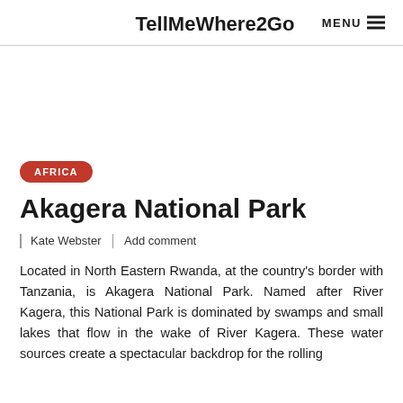TellMeWhere2Go  MENU
AFRICA
Akagera National Park
Kate Webster  |  Add comment
Located in North Eastern Rwanda, at the country's border with Tanzania, is Akagera National Park. Named after River Kagera, this National Park is dominated by swamps and small lakes that flow in the wake of River Kagera. These water sources create a spectacular backdrop for the rolling